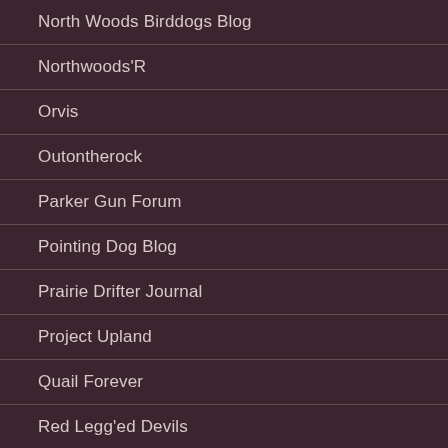North Woods Birddogs Blog
Northwoods'R
Orvis
Outontherock
Parker Gun Forum
Pointing Dog Blog
Prairie Drifter Journal
Project Upland
Quail Forever
Red Legg'ed Devils
RGS